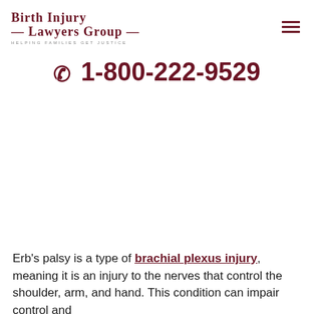Birth Injury Lawyers Group — Helping Families Get Justice
☎ 1-800-222-9529
Erb's palsy is a type of brachial plexus injury, meaning it is an injury to the nerves that control the shoulder, arm, and hand. This condition can impair control and